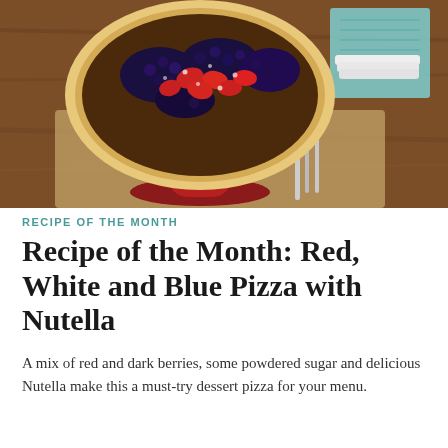[Figure (photo): A berry dessert pizza topped with strawberries and blueberries, displayed on a red pedestal cake stand on a burlap mat, with silverware and a teal napkin in the background on a wooden table.]
RECIPE OF THE MONTH
Recipe of the Month: Red, White and Blue Pizza with Nutella
A mix of red and dark berries, some powdered sugar and delicious Nutella make this a must-try dessert pizza for your menu.